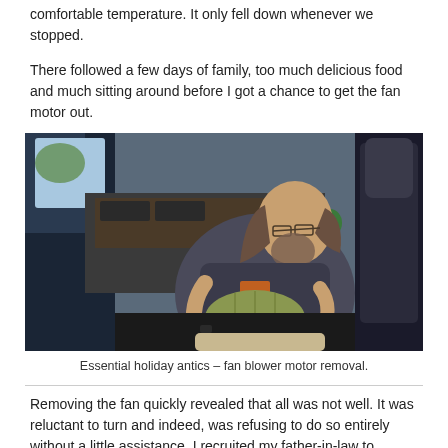comfortable temperature. It only fell down whenever we stopped.
There followed a few days of family, too much delicious food and much sitting around before I got a chance to get the fan motor out.
[Figure (photo): A bearded man with long hair tied back, wearing glasses and a dark t-shirt, sitting inside a car working on removing a fan blower motor component. The car interior dashboard is visible in the background.]
Essential holiday antics – fan blower motor removal.
Removing the fan quickly revealed that all was not well. It was reluctant to turn and indeed, was refusing to do so entirely without a little assistance. I recruited my father-in-law to investigate, as I knew he'd enjoy the project.